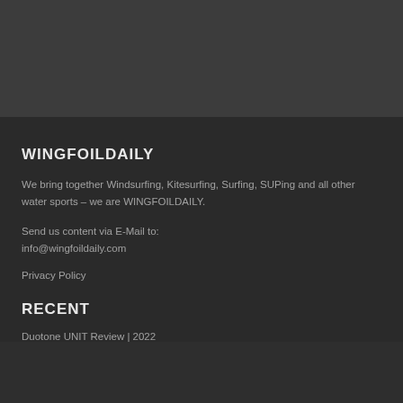[Figure (photo): Dark gray top banner area]
WINGFOILDAILY
We bring together Windsurfing, Kitesurfing, Surfing, SUPing and all other water sports – we are WINGFOILDAILY.
Send us content via E-Mail to:
info@wingfoildaily.com
Privacy Policy
RECENT
Duotone UNIT Review | 2022